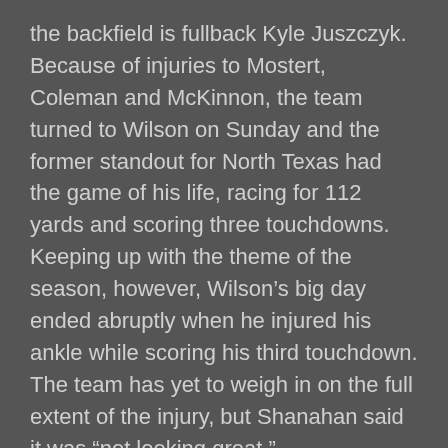the backfield is fullback Kyle Juszczyk. Because of injuries to Mostert, Coleman and McKinnon, the team turned to Wilson on Sunday and the former standout for North Texas had the game of his life, racing for 112 yards and scoring three touchdowns. Keeping up with the theme of the season, however, Wilson's big day ended abruptly when he injured his ankle while scoring his third touchdown. The team has yet to weigh in on the full extent of the injury, but Shanahan said it was “not looking great.”
Top Receiver: Tyler Lockett
It’s a coin flip between Lockett and Green Bay’s Davante Adams, as both receivers had absolutely incredible games. Lockett, however, gets the edge, as he did his damage against Patrick Peterson and a solid Arizona defense, while Adams did his